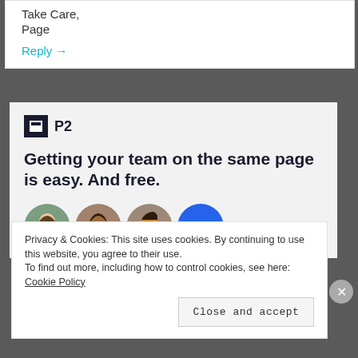Take Care,
Page
Reply →
[Figure (screenshot): P2 advertisement banner with logo, headline 'Getting your team on the same page is easy. And free.' and three person avatars plus a blue plus button]
Privacy & Cookies: This site uses cookies. By continuing to use this website, you agree to their use. To find out more, including how to control cookies, see here: Cookie Policy
Close and accept